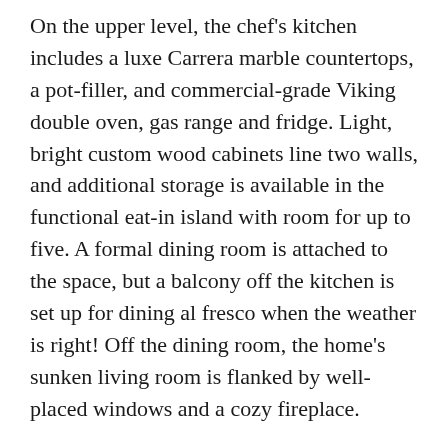On the upper level, the chef's kitchen includes a luxe Carrera marble countertops, a pot-filler, and commercial-grade Viking double oven, gas range and fridge. Light, bright custom wood cabinets line two walls, and additional storage is available in the functional eat-in island with room for up to five. A formal dining room is attached to the space, but a balcony off the kitchen is set up for dining al fresco when the weather is right! Off the dining room, the home's sunken living room is flanked by well-placed windows and a cozy fireplace.
The home's main floor entrance provides access to the second bedroom and full bathroom. On the lower level, you'll find the primary bedroom and a full office (or guest bedroom). The roomy master ensuite features large, modern picture windows, built-in shelves, a wet